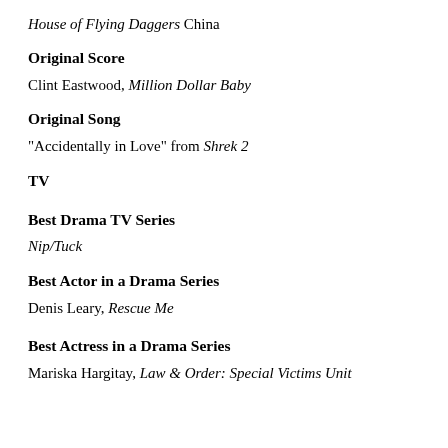House of Flying Daggers China
Original Score
Clint Eastwood, Million Dollar Baby
Original Song
"Accidentally in Love" from Shrek 2
TV
Best Drama TV Series
Nip/Tuck
Best Actor in a Drama Series
Denis Leary, Rescue Me
Best Actress in a Drama Series
Mariska Hargitay, Law & Order: Special Victims Unit